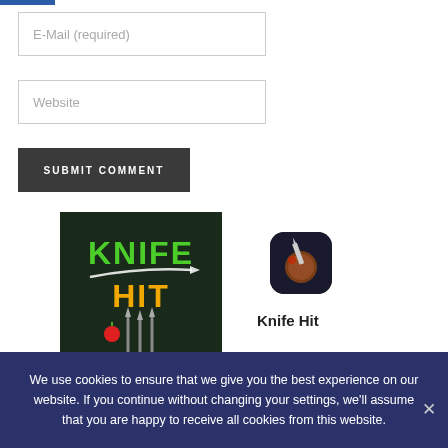E-Mail (required)
Website
SUBMIT COMMENT
[Figure (illustration): Knife Hit game banner with dark background, green and yellow text 'KNIFE HIT' with knives and apple imagery]
[Figure (illustration): Knife Hit app icon showing a knife and log with dark background, rounded square shape]
Knife Hit
We use cookies to ensure that we give you the best experience on our website. If you continue without changing your settings, we'll assume that you are happy to receive all cookies from this website.